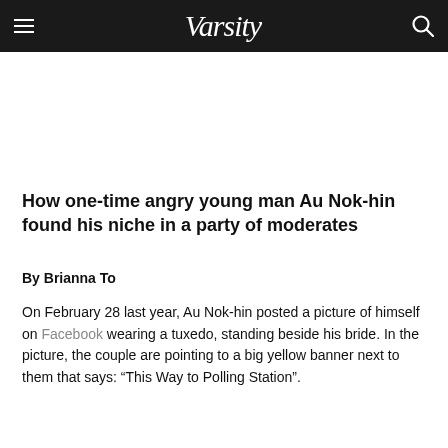Varsity
How one-time angry young man Au Nok-hin found his niche in a party of moderates
By Brianna To
On February 28 last year, Au Nok-hin posted a picture of himself on Facebook wearing a tuxedo, standing beside his bride. In the picture, the couple are pointing to a big yellow banner next to them that says: “This Way to Polling Station”.